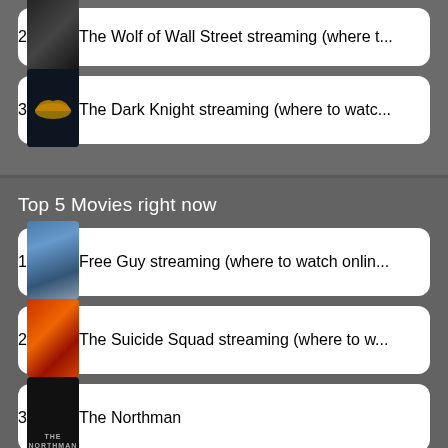2 The Wolf of Wall Street streaming (where t...
3 The Dark Knight streaming (where to watc...
Top 5 Movies right now
1 Free Guy streaming (where to watch onlin...
2 The Suicide Squad streaming (where to w...
3 The Northman